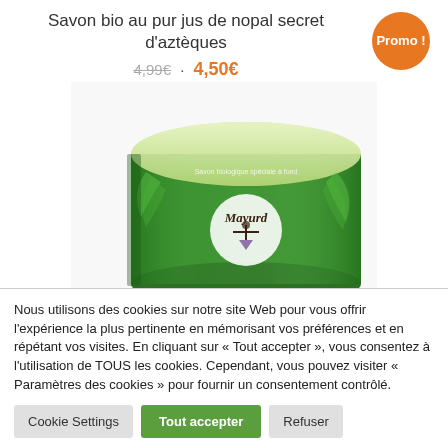Savon bio au pur jus de nopal secret d'aztèques
4,99€ · 4,50€
[Figure (photo): A cylindrical green soap product with label showing 'Mayurd' brand and nopal cactus imagery]
Nous utilisons des cookies sur notre site Web pour vous offrir l'expérience la plus pertinente en mémorisant vos préférences et en répétant vos visites. En cliquant sur « Tout accepter », vous consentez à l'utilisation de TOUS les cookies. Cependant, vous pouvez visiter « Paramètres des cookies » pour fournir un consentement contrôlé.